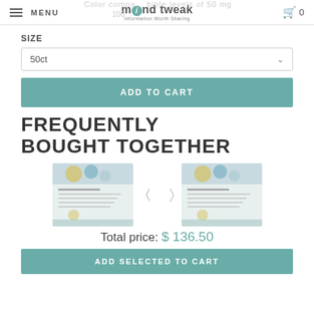MENU | mind tweak - Information Worth Sharing | Cart 0
SIZE
50ct
ADD TO CART
FREQUENTLY BOUGHT TOGETHER
[Figure (screenshot): Two product thumbnail images side by side with plus sign between them]
Total price: $ 136.50
ADD SELECTED TO CART